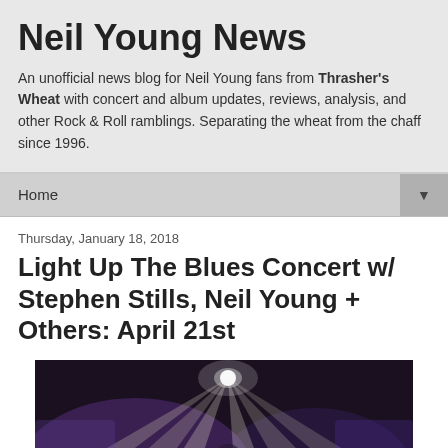Neil Young News
An unofficial news blog for Neil Young fans from Thrasher's Wheat with concert and album updates, reviews, analysis, and other Rock & Roll ramblings. Separating the wheat from the chaff since 1996.
Home ▼
Thursday, January 18, 2018
Light Up The Blues Concert w/ Stephen Stills, Neil Young + Others: April 21st
[Figure (photo): Concert stage photo with dramatic light beams and purple lighting, showing a performer on stage]